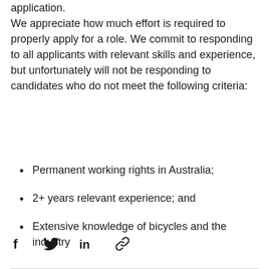application. We appreciate how much effort is required to properly apply for a role. We commit to responding to all applicants with relevant skills and experience, but unfortunately will not be responding to candidates who do not meet the following criteria:
Permanent working rights in Australia;
2+ years relevant experience; and
Extensive knowledge of bicycles and the industry
[Figure (infographic): Social share icons: Facebook, Twitter, LinkedIn, link/chain icon]